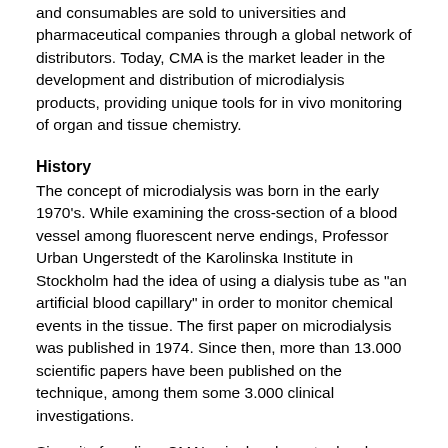and consumables are sold to universities and pharmaceutical companies through a global network of distributors. Today, CMA is the market leader in the development and distribution of microdialysis products, providing unique tools for in vivo monitoring of organ and tissue chemistry.
History
The concept of microdialysis was born in the early 1970's. While examining the cross-section of a blood vessel among fluorescent nerve endings, Professor Urban Ungerstedt of the Karolinska Institute in Stockholm had the idea of using a dialysis tube as "an artificial blood capillary" in order to monitor chemical events in the tissue. The first paper on microdialysis was published in 1974. Since then, more than 13.000 scientific papers have been published on the technique, among them some 3.000 clinical investigations.
Since its founding, CMA's aim has been to develop microdialysis as a standard research tool in academic and industrial laboratories. The CMA 10 Microdialysis Probe, the first commercially produced microdialysis probe, was probably the most significant contribution to the use of microdialysis in neurobiological research. Since then, several additional lines of probes have been developed by CMA to